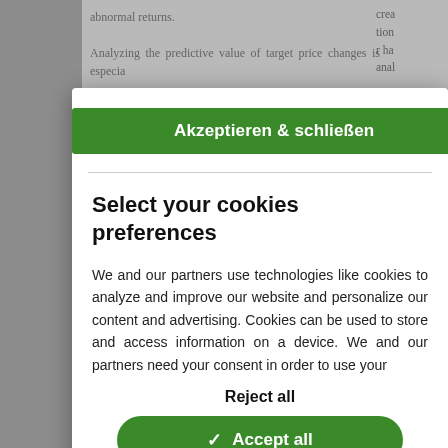[Figure (screenshot): Cookie consent modal dialog overlaid on a partially visible academic/finance document. The modal contains an 'Akzeptieren & schließen' green button, a horizontal divider, a bold title 'Select your cookies preferences', explanatory text about cookies, a 'Reject all' text link, a green 'Accept all' button with checkmark, and footer links: 'Customize your choice | Privacy notice | Legal notice'. A QR code icon is visible in the bottom-left of the modal. The background shows fragments of a research document text in gray.]